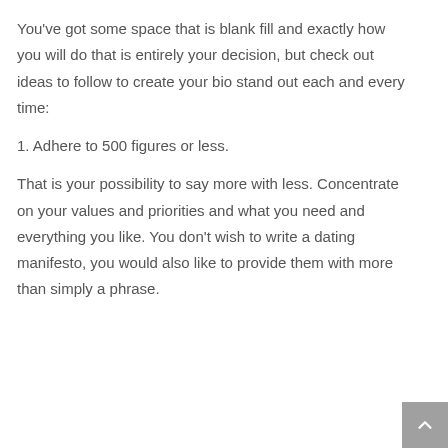You've got some space that is blank fill and exactly how you will do that is entirely your decision, but check out ideas to follow to create your bio stand out each and every time:
1. Adhere to 500 figures or less.
That is your possibility to say more with less. Concentrate on your values and priorities and what you need and everything you like. You don't wish to write a dating manifesto, you would also like to provide them with more than simply a phrase.